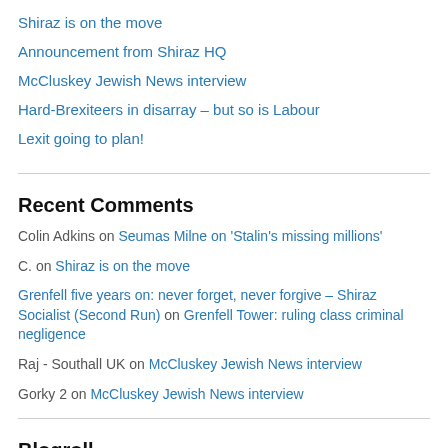Shiraz is on the move
Announcement from Shiraz HQ
McCluskey Jewish News interview
Hard-Brexiteers in disarray – but so is Labour
Lexit going to plan!
Recent Comments
Colin Adkins on Seumas Milne on 'Stalin's missing millions'
C. on Shiraz is on the move
Grenfell five years on: never forget, never forgive – Shiraz Socialist (Second Run) on Grenfell Tower: ruling class criminal negligence
Raj - Southall UK on McCluskey Jewish News interview
Gorky 2 on McCluskey Jewish News interview
Blogroll
+972